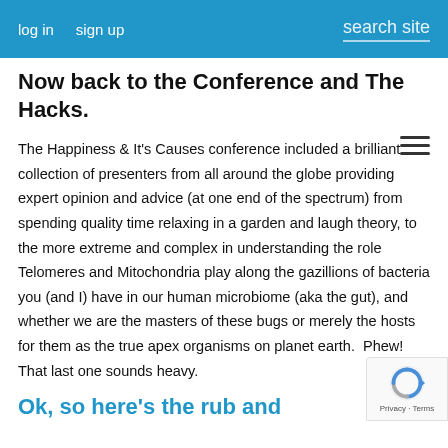log in   sign up   search site
Now back to the Conference and The Hacks.
The Happiness & It's Causes conference included a brilliant collection of presenters from all around the globe providing expert opinion and advice (at one end of the spectrum) from spending quality time relaxing in a garden and laugh theory, to the more extreme and complex in understanding the role Telomeres and Mitochondria play along the gazillions of bacteria you (and I) have in our human microbiome (aka the gut), and whether we are the masters of these bugs or merely the hosts for them as the true apex organisms on planet earth.  Phew! That last one sounds heavy.
Ok, so here's the rub and